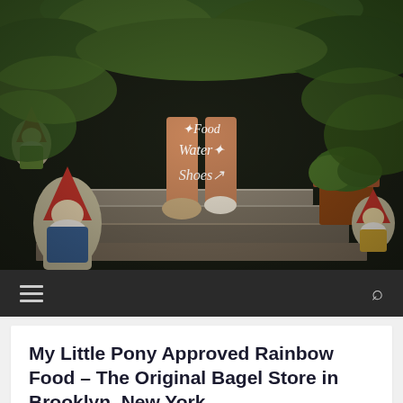[Figure (photo): Blog header photo: A person's legs sitting on stone steps surrounded by garden gnomes and lush green plants. In the center of the image is overlaid the blog logo text 'Food Water Shoes' in white decorative script.]
≡   🔍
My Little Pony Approved Rainbow Food – The Original Bagel Store in Brooklyn, New York